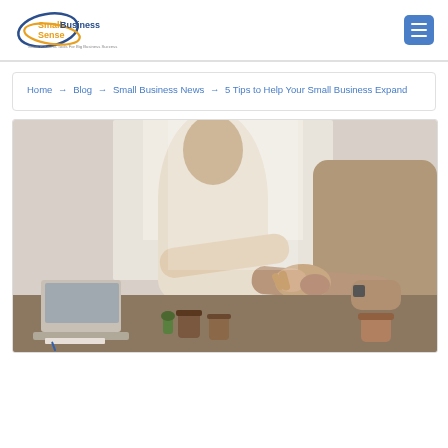SmallBusinessSense — Small Business Tools For Big Business Success
Home → Blog → Small Business News → 5 Tips to Help Your Small Business Expand
[Figure (photo): Two people shaking hands across a desk with a laptop and coffee cups visible, in a bright office setting.]